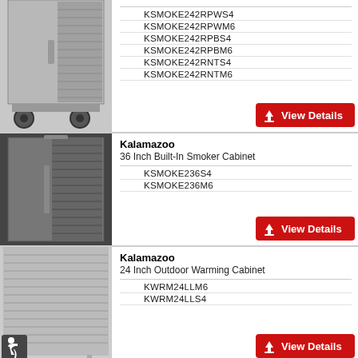[Figure (photo): Stainless steel smoker cabinet on wheels, top portion visible]
KSMOKE242RPWS4
KSMOKE242RPWM6
KSMOKE242RPBS4
KSMOKE242RPBM6
KSMOKE242RNTS4
KSMOKE242RNTM6
[Figure (photo): Kalamazoo 36 Inch Built-In Smoker Cabinet stainless steel]
Kalamazoo
36 Inch Built-In Smoker Cabinet
KSMOKE236S4
KSMOKE236M6
[Figure (photo): Kalamazoo 24 Inch Outdoor Warming Cabinet stainless steel with accessibility icon]
Kalamazoo
24 Inch Outdoor Warming Cabinet
KWRM24LLM6
KWRM24LLS4
[Figure (photo): Kalamazoo Signature 24 Inch Warming Cabinet partial view]
Kalamazoo
Signature 24 Inch Warming Cabinet